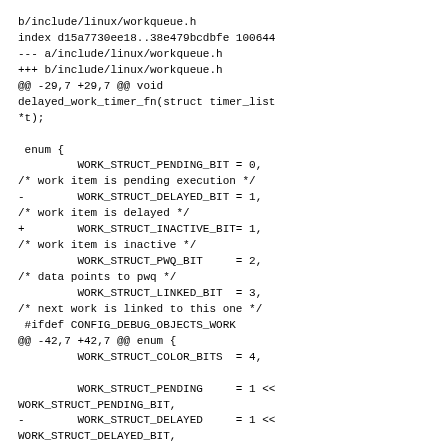b/include/linux/workqueue.h
index d15a7730ee18..38e479bcdbfe 100644
--- a/include/linux/workqueue.h
+++ b/include/linux/workqueue.h
@@ -29,7 +29,7 @@ void delayed_work_timer_fn(struct timer_list *t);

 enum {
         WORK_STRUCT_PENDING_BIT = 0,
 /* work item is pending execution */
-        WORK_STRUCT_DELAYED_BIT = 1,
 /* work item is delayed */
+        WORK_STRUCT_INACTIVE_BIT= 1,
 /* work item is inactive */
         WORK_STRUCT_PWQ_BIT     = 2,
 /* data points to pwq */
         WORK_STRUCT_LINKED_BIT  = 3,
 /* next work is linked to this one */
  #ifdef CONFIG_DEBUG_OBJECTS_WORK
 @@ -42,7 +42,7 @@ enum {
         WORK_STRUCT_COLOR_BITS  = 4,

         WORK_STRUCT_PENDING     = 1 << WORK_STRUCT_PENDING_BIT,
-        WORK_STRUCT_DELAYED     = 1 << WORK_STRUCT_DELAYED_BIT,
+        WORK_STRUCT_INACTIVE    = 1 << WORK_STRUCT_INACTIVE_BIT,
         WORK_STRUCT_PWQ         = 1 << WORK_STRUCT_PWQ_BIT,